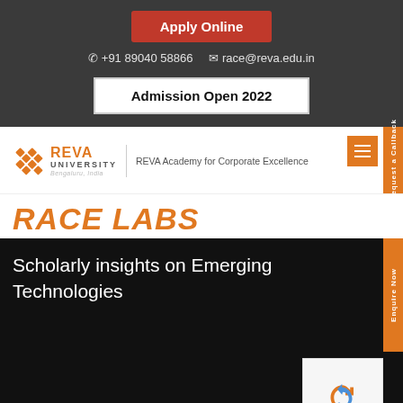Apply Online
+91 89040 58866   race@reva.edu.in
Admission Open 2022
[Figure (logo): REVA University logo with orange diamond grid icon, text REVA UNIVERSITY, Bengaluru, India, and REVA Academy for Corporate Excellence tagline]
RACE LABS
Scholarly insights on Emerging Technologies